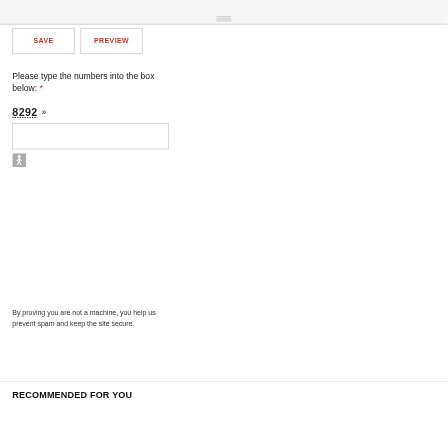[Figure (screenshot): Top scrollbar area with horizontal lines]
SAVE
PREVIEW
Please type the numbers into the box below: *
8292 »
[Figure (screenshot): Empty text input box for captcha entry]
[Figure (illustration): Accessibility wheelchair icon in grey rounded square]
By proving you are not a machine, you help us prevent spam and keep the site secure.
RECOMMENDED FOR YOU